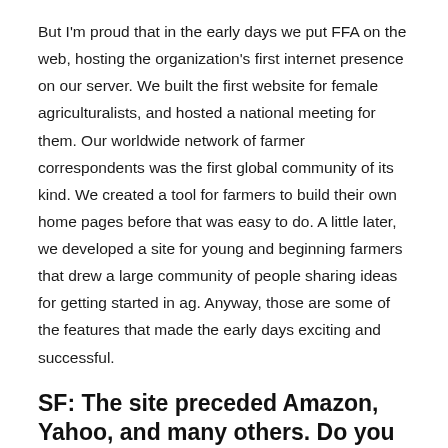But I'm proud that in the early days we put FFA on the web, hosting the organization's first internet presence on our server. We built the first website for female agriculturalists, and hosted a national meeting for them. Our worldwide network of farmer correspondents was the first global community of its kind. We created a tool for farmers to build their own home pages before that was easy to do. A little later, we developed a site for young and beginning farmers that drew a large community of people sharing ideas for getting started in ag. Anyway, those are some of the features that made the early days exciting and successful.
SF: The site preceded Amazon, Yahoo, and many others. Do you regret not investing in some of those ventures?
JW: Well, not really. I probably would have invested in the wrong ones. I was always just happy to earn a wage for doing my job at